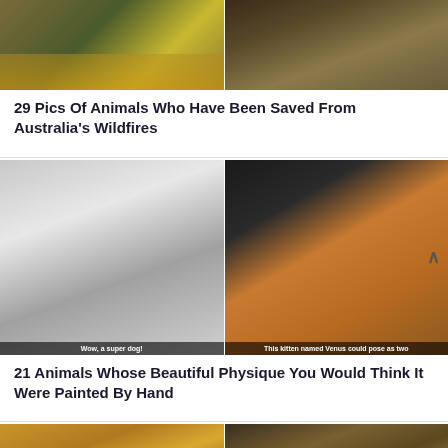[Figure (photo): Two photos side by side: left shows an animal being rescued in a yellow safety jacket near dry grass; right shows a kangaroo or animal in a burnt/dry landscape]
29 Pics Of Animals Who Have Been Saved From Australia's Wildfires
[Figure (photo): Two animal photos: left is a fluffy black and white husky puppy with caption 'Wow, a super dog!'; right is a cat that appears half black and half orange-tabby with a pink collar and caption 'This kitten named Venus could pose as two']
21 Animals Whose Beautiful Physique You Would Think It Were Painted By Hand
[Figure (photo): Bottom partial photos: two animal images cut off at bottom of page]